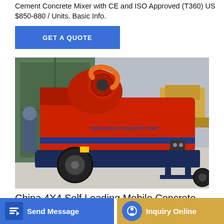Cement Concrete Mixer with CE and ISO Approved (T360) US $850-880 / Units. Basic Info.
[Figure (other): Blue button labeled GET A QUOTE]
[Figure (photo): Red self-loading concrete pump machine on wheels being loaded into a shipping container, with a yellow loader vehicle in background]
China 4X4 Self Loading Mobile Concrete
concrete mixer makes full use of the function of concrete
[Figure (other): Bottom navigation bar with Send Message button (blue) and Inquiry Online button (gold/yellow)]